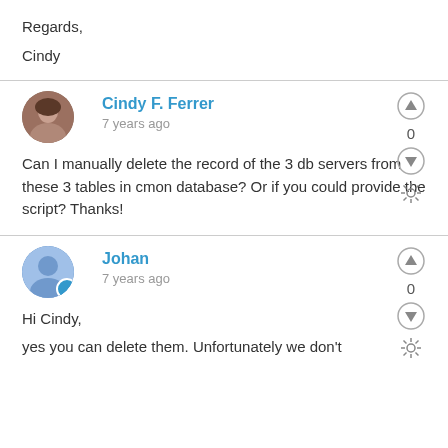Regards,
Cindy
Cindy F. Ferrer
7 years ago
Can I manually delete the record of the 3 db servers from these 3 tables in cmon database? Or if you could provide the script? Thanks!
Johan
7 years ago
Hi Cindy,
yes you can delete them. Unfortunately we don't